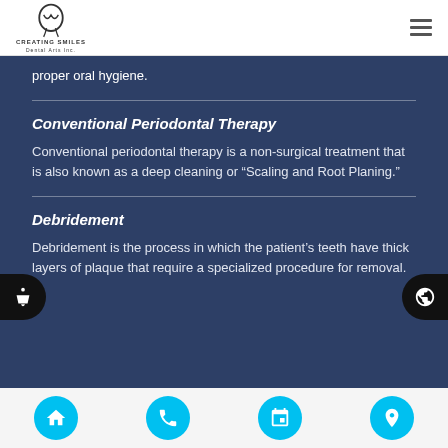Creating Smiles Dental Arts Inc.
proper oral hygiene.
Conventional Periodontal Therapy
Conventional periodontal therapy is a non-surgical treatment that is also known as a deep cleaning or “Scaling and Root Planing.”
Debridement
Debridement is the process in which the patient’s teeth have thick layers of plaque that require a specialized procedure for removal.